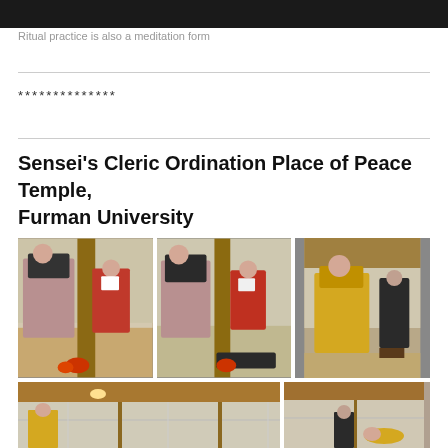[Figure (photo): Top image banner - dark/black photograph strip]
Ritual practice is also a meditation form
**************
Sensei’s Cleric Ordination Place of Peace Temple, Furman University
[Figure (photo): Three side-by-side photos of a Buddhist ordination ceremony in a traditional Japanese hall. Monks in robes standing, one in red robes, one in mauve/pink robe, another in yellow robe.]
[Figure (photo): Two bottom photos of the ordination ceremony - interior shots of traditional Japanese building.]